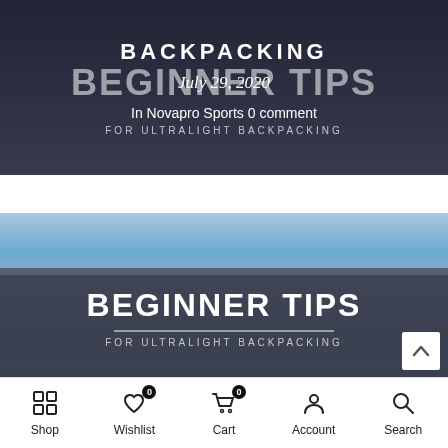[Figure (screenshot): Top hero banner with dark background showing hikers, 'BACKPACKING' text in uppercase, 'BEGINNER TIPS' in large faded uppercase, 'July 29, 2020' date overlay in italic, 'In Novapro Sports 0 comment' subtitle, and 'FOR ULTRALIGHT BACKPACKING' tagline]
[Figure (screenshot): Bottom hero banner with outdoor sky and hikers image, semi-transparent dark band overlaid with 'BEGINNER TIPS' in large bold white uppercase, horizontal divider, and 'FOR ULTRALIGHT BACKPACKING' tagline, plus a scroll-up arrow button in the bottom right]
Shop  Wishlist  Cart  Account  Search